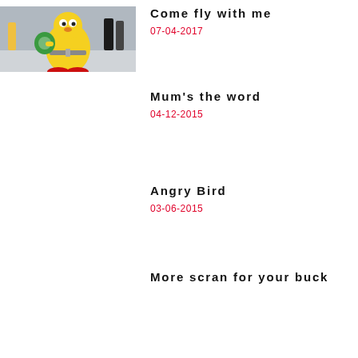[Figure (photo): A yellow mascot character with a large round body, red shoes, and a green shield/disc, standing in an airport terminal with people walking in the background.]
Come fly with me
07-04-2017
Mum's the word
04-12-2015
Angry Bird
03-06-2015
More scran for your buck